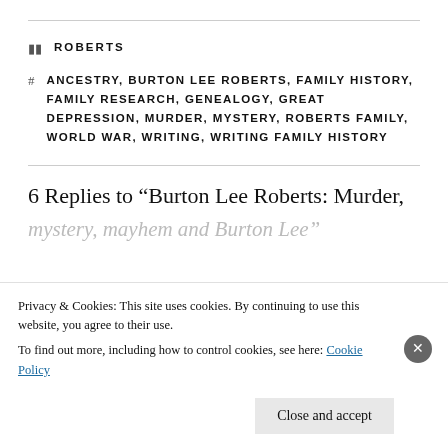ROBERTS
ANCESTRY, BURTON LEE ROBERTS, FAMILY HISTORY, FAMILY RESEARCH, GENEALOGY, GREAT DEPRESSION, MURDER, MYSTERY, ROBERTS FAMILY, WORLD WAR, WRITING, WRITING FAMILY HISTORY
6 Replies to “Burton Lee Roberts: Murder, mystery, mayhem and Burton Lee”
Privacy & Cookies: This site uses cookies. By continuing to use this website, you agree to their use.
To find out more, including how to control cookies, see here: Cookie Policy